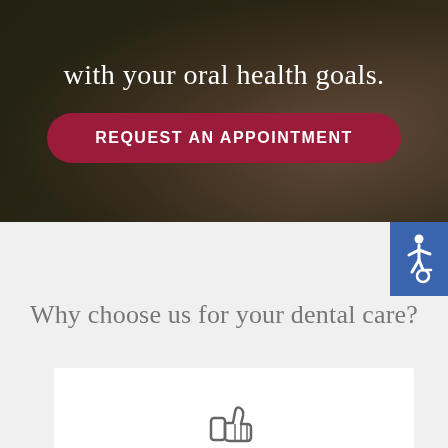with your oral health goals.
REQUEST AN APPOINTMENT
[Figure (photo): Dark blurred background photo with bokeh effect, dental office or nature scene]
[Figure (illustration): Wheelchair accessibility icon on blue background]
Why choose us for your dental care?
[Figure (illustration): Thumbs up icon in gray outline style]
HIGHLY EXPERIENCED &